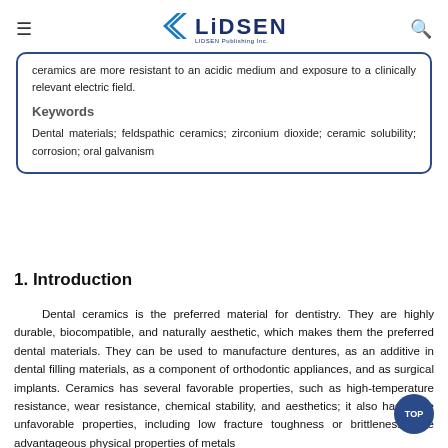LIDSEN Publishing Inc.
ceramics are more resistant to an acidic medium and exposure to a clinically relevant electric field.
Keywords
Dental materials; feldspathic ceramics; zirconium dioxide; ceramic solubility; corrosion; oral galvanism
1. Introduction
Dental ceramics is the preferred material for dentistry. They are highly durable, biocompatible, and naturally aesthetic, which makes them the preferred dental materials. They can be used to manufacture dentures, as an additive in dental filling materials, as a component of orthodontic appliances, and as surgical implants. Ceramics has several favorable properties, such as high-temperature resistance, wear resistance, chemical stability, and aesthetics; it also has some unfavorable properties, including low fracture toughness or brittleness. The advantageous physical properties of metals